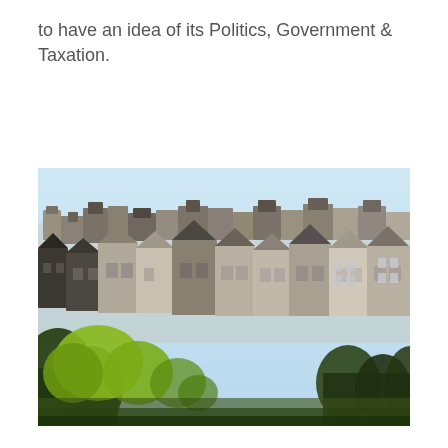to have an idea of its Politics, Government & Taxation.
[Figure (photo): Aerial view of a dense residential hillside neighborhood with mixed Victorian and modern houses, trees in the foreground, and a light blue sky — likely San Francisco.]